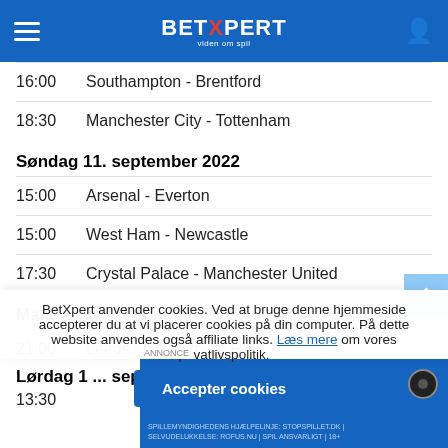BetXpert
16:00  Southampton - Brentford
18:30  Manchester City - Tottenham
Søndag 11. september 2022
15:00  Arsenal - Everton
15:00  West Ham - Newcastle
17:30  Crystal Palace - Manchester United
Mandag 12. september 2022
21:00  Leeds - Nottingham F.
BetXpert anvender cookies. Ved at bruge denne hjemmeside accepterer du at vi placerer cookies på din computer. På dette website anvendes også affiliate links. Læs mere om vores privatlivspolitik.
Lørdag 1... september 2022
13:30